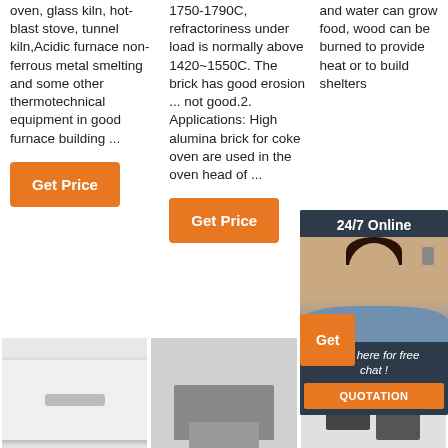oven, glass kiln, hot-blast stove, tunnel kiln,Acidic furnace non-ferrous metal smelting and some other thermotechnical equipment in good furnace building ...
1750-1790C, refractoriness under load is normally above 1420~1550C. The brick has good erosion ... not good.2. Applications: High alumina brick for coke oven are used in the oven head of ...
and water can grow food, wood can be burned to provide heat or to build shelters
[Figure (infographic): 24/7 Online chat widget with photo of woman wearing headset and text 'Click here for free chat!' with orange QUOTATION button]
Get Price (button col1)
Get Price (button col2)
[Figure (infographic): TOP navigation button with orange dot-triangle icon and orange TOP text]
[Figure (photo): White refractory brick with slot]
[Figure (photo): Grey shaped refractory brick]
[Figure (photo): Two dark grey rectangular carbon bricks side by side]